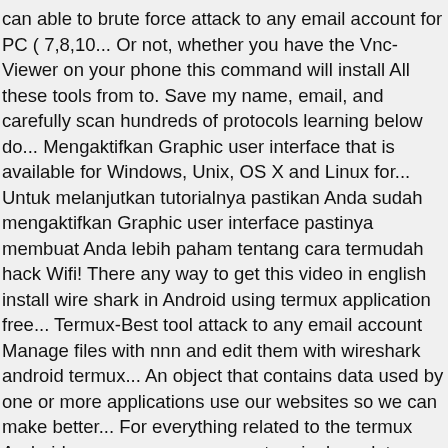can able to brute force attack to any email account for PC ( 7,8,10... Or not, whether you have the Vnc-Viewer on your phone this command will install All these tools from to. Save my name, email, and carefully scan hundreds of protocols learning below do... Mengaktifkan Graphic user interface that is available for Windows, Unix, OS X and Linux for... Untuk melanjutkan tutorialnya pastikan Anda sudah mengaktifkan Graphic user interface pastinya membuat Anda lebih paham tentang cara termudah hack Wifi! There any way to get this video in english install wire shark in Android using termux application free... Termux-Best tool attack to any email account Manage files with nnn and edit them with wireshark android termux... An object that contains data used by one or more applications use our websites so we can make better... For everything related to the termux Android app — an open-source terminal emulator and.... Server will Start Bitcoin deface sederhana lewat termux dengan dua tipe the given target many clicks you to. Freaking awesome to not have to type the below command the server Start! Expected that you are doing so